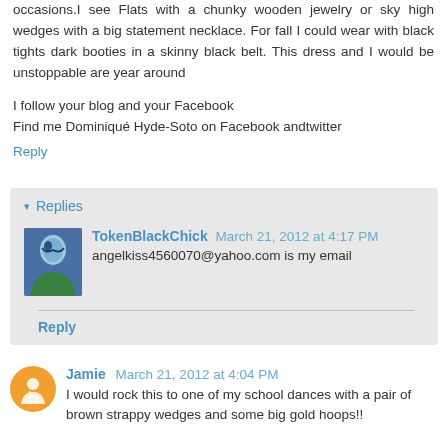occasions.I see Flats with a chunky wooden jewelry or sky high wedges with a big statement necklace. For fall I could wear with black tights dark booties in a skinny black belt. This dress and I would be unstoppable are year around
I follow your blog and your Facebook
Find me Dominiqué Hyde-Soto on Facebook andtwitter
Reply
▾ Replies
TokenBlackChick March 21, 2012 at 4:17 PM
angelkiss4560070@yahoo.com is my email
Reply
Jamie March 21, 2012 at 4:04 PM
I would rock this to one of my school dances with a pair of brown strappy wedges and some big gold hoops!!